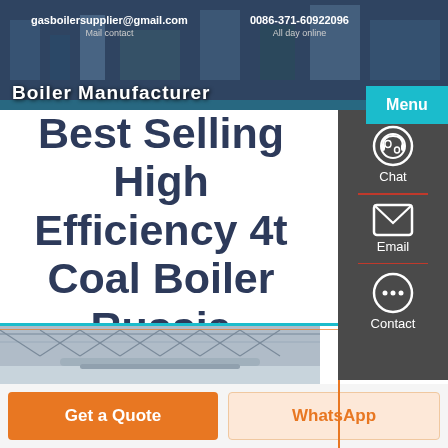gasboilersupplier@gmail.com  Mail contact  |  0086-371-60922096  All day online
Best Selling High Efficiency 4t Coal Boiler Russia
[Figure (screenshot): Website screenshot showing boiler manufacturer page with contact info, navigation menu button, main page title, sidebar with chat/email/contact icons, factory interior image, and bottom CTA buttons]
Chat
Email
Contact
Get a Quote
WhatsApp